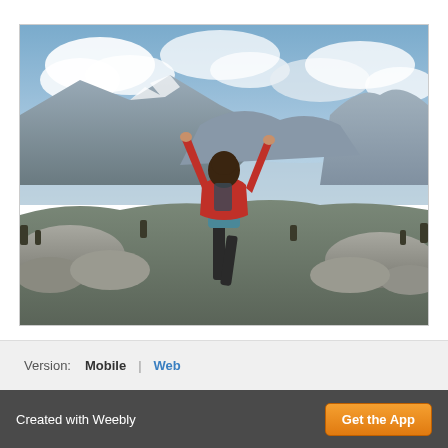[Figure (photo): Person in red jacket standing on rocky mountain terrain with arms raised, facing away from camera, overlooking a vast mountain valley landscape with Half Dome visible in the background, blue sky with clouds.]
Version: Mobile | Web
Created with Weebly
Get the App